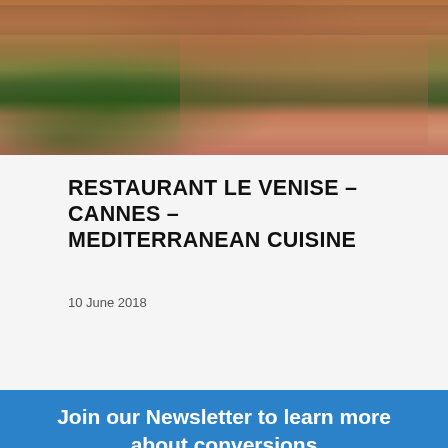[Figure (photo): Outdoor restaurant terrace with tables, chairs, pink/terracotta building facade and tropical plants]
RESTAURANT LE VENISE – CANNES – MEDITERRANEAN CUISINE
10 June 2018
Join our Newsletter to learn more about conversions
Enter Your Email
JOIN